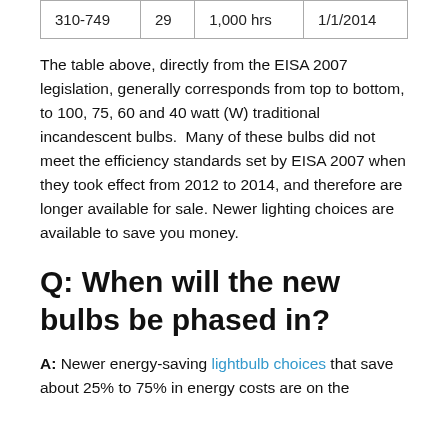| 310-749 | 29 | 1,000 hrs | 1/1/2014 |
The table above, directly from the EISA 2007 legislation, generally corresponds from top to bottom, to 100, 75, 60 and 40 watt (W) traditional incandescent bulbs. Many of these bulbs did not meet the efficiency standards set by EISA 2007 when they took effect from 2012 to 2014, and therefore are longer available for sale. Newer lighting choices are available to save you money.
Q: When will the new bulbs be phased in?
A: Newer energy-saving lightbulb choices that save about 25% to 75% in energy costs are on the